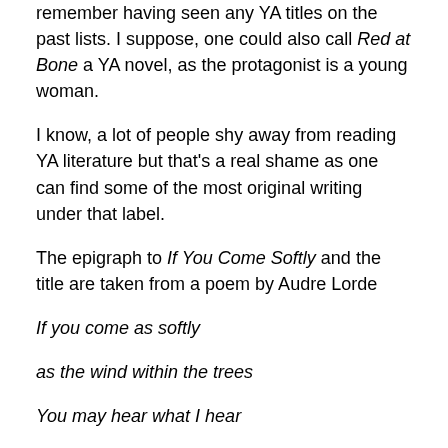remember having seen any YA titles on the past lists. I suppose, one could also call Red at Bone a YA novel, as the protagonist is a young woman.
I know, a lot of people shy away from reading YA literature but that's a real shame as one can find some of the most original writing under that label.
The epigraph to If You Come Softly and the title are taken from a poem by Audre Lorde
If you come as softly
as the wind within the trees
You may hear what I hear
See what sorrow sees
I couldn't think of a better epigraph to set the tone and